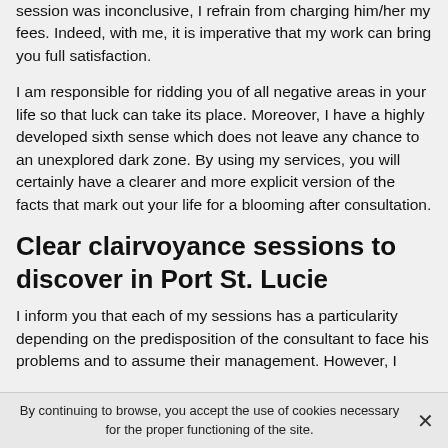session was inconclusive, I refrain from charging him/her my fees. Indeed, with me, it is imperative that my work can bring you full satisfaction.
I am responsible for ridding you of all negative areas in your life so that luck can take its place. Moreover, I have a highly developed sixth sense which does not leave any chance to an unexplored dark zone. By using my services, you will certainly have a clearer and more explicit version of the facts that mark out your life for a blooming after consultation.
Clear clairvoyance sessions to discover in Port St. Lucie
I inform you that each of my sessions has a particularity depending on the predisposition of the consultant to face his problems and to assume their management. However, I
By continuing to browse, you accept the use of cookies necessary for the proper functioning of the site.